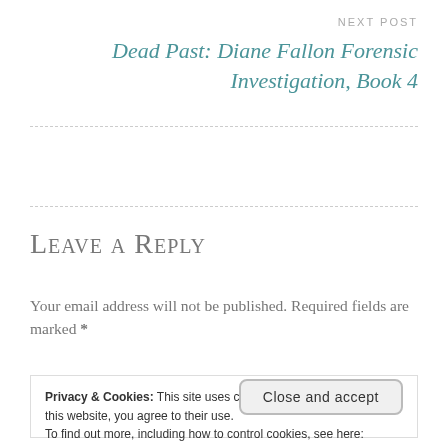NEXT POST
Dead Past: Diane Fallon Forensic Investigation, Book 4
Leave a Reply
Your email address will not be published. Required fields are marked *
Privacy & Cookies: This site uses cookies. By continuing to use this website, you agree to their use.
To find out more, including how to control cookies, see here: Cookie Policy
Close and accept